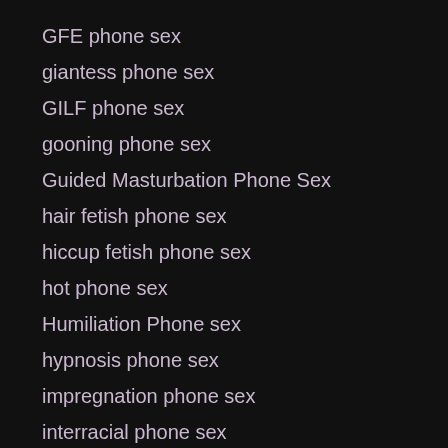GFE phone sex
giantess phone sex
GILF phone sex
gooning phone sex
Guided Masturbation Phone Sex
hair fetish phone sex
hiccup fetish phone sex
hot phone sex
Humiliation Phone sex
hypnosis phone sex
impregnation phone sex
interracial phone sex
Jerk Off Instructions
JOI phone sex
Kinky Phone Sex